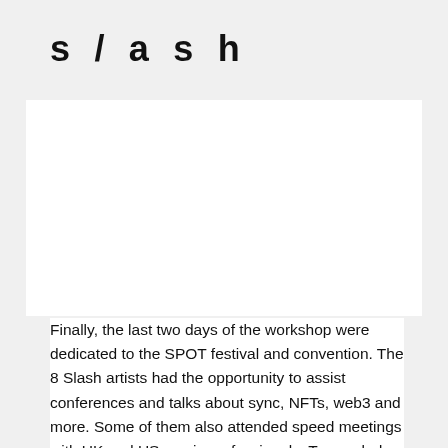s / a s h
[Figure (photo): White/blank image area below the header, part of the content card]
Finally, the last two days of the workshop were dedicated to the SPOT festival and convention. The 8 Slash artists had the opportunity to assist conferences and talks about sync, NFTs, web3 and more. Some of them also attended speed meetings with UK and US music professionals. To conclude, this week was quite a wonderful ending to the second season of